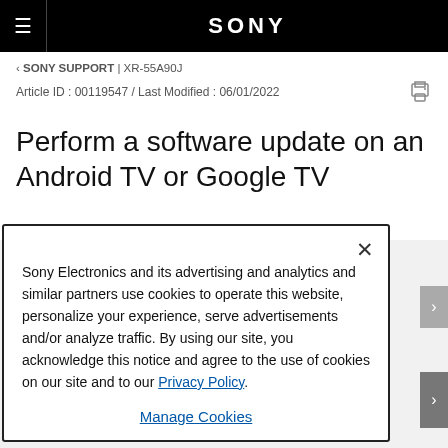SONY
‹ SONY SUPPORT | XR-55A90J
Article ID : 00119547 / Last Modified : 06/01/2022
Perform a software update on an Android TV or Google TV
Sony Electronics and its advertising and analytics and similar partners use cookies to operate this website, personalize your experience, serve advertisements and/or analyze traffic. By using our site, you acknowledge this notice and agree to the use of cookies on our site and to our Privacy Policy.
Manage Cookies